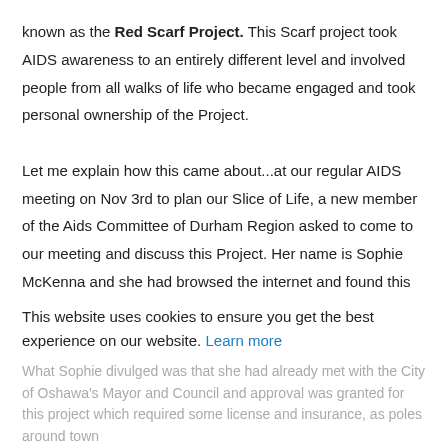known as the Red Scarf Project. This Scarf project took AIDS awareness to an entirely different level and involved people from all walks of life who became engaged and took personal ownership of the Project.
Let me explain how this came about...at our regular AIDS meeting on Nov 3rd to plan our Slice of Life, a new member of the Aids Committee of Durham Region asked to come to our meeting and discuss this Project. Her name is Sophie McKenna and she had browsed the internet and found this particular project had originated in the Niagara Region and was also well established in London, Ontario. She needed
This website uses cookies to ensure you get the best experience on our website. Learn more
What Sophie divulged was that she had already met with the City of Oshawa's Mayor and Council and approval was granted for this project which required some license and insurance, as poles around town